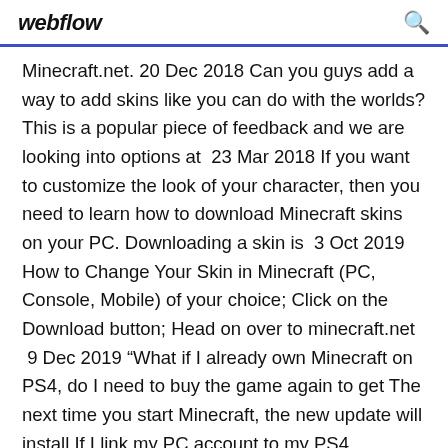webflow
Minecraft.net. 20 Dec 2018 Can you guys add a way to add skins like you can do with the worlds? This is a popular piece of feedback and we are looking into options at  23 Mar 2018 If you want to customize the look of your character, then you need to learn how to download Minecraft skins on your PC. Downloading a skin is  3 Oct 2019 How to Change Your Skin in Minecraft (PC, Console, Mobile) of your choice; Click on the Download button; Head on over to minecraft.net  9 Dec 2019 “What if I already own Minecraft on PS4, do I need to buy the game again to get The next time you start Minecraft, the new update will install If I link my PC account to my PS4